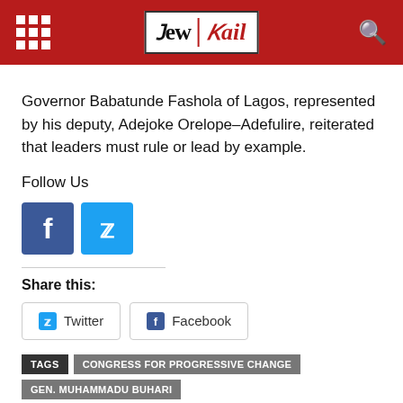New Mail
Governor Babatunde Fashola of Lagos, represented by his deputy, Adejoke Orelope–Adefulire, reiterated that leaders must rule or lead by example.
Follow Us
[Figure (infographic): Facebook and Twitter social media icon buttons]
Share this:
[Figure (infographic): Twitter and Facebook share buttons]
TAGS: CONGRESS FOR PROGRESSIVE CHANGE | GEN. MUHAMMADU BUHARI | GOVERNOR BABATUNDE FASHOLA OF LAGOS | PASTOR TUNDE BAKARE